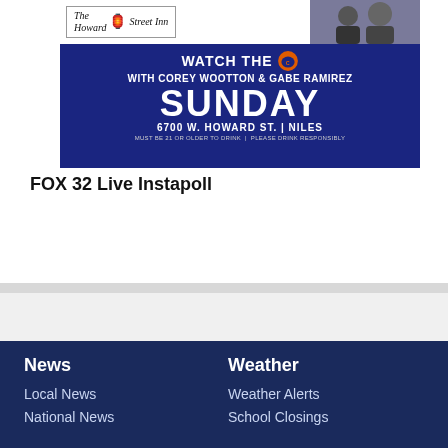[Figure (photo): The Howard Street Inn advertisement banner on dark blue background with Chicago Bears logo, featuring text: WATCH THE [Bears logo] WITH COREY WOOTTON & GABE RAMIREZ, SUNDAY, 6700 W. HOWARD ST. | NILES, MUST BE 21 OR OLDER TO DRINK | PLEASE DRINK RESPONSIBLY]
FOX 32 Live Instapoll
[Figure (logo): FOX 32 LIVE InstaPOLL logo banner on light gray background with red and dark blue colors]
News
Local News
National News
Weather
Weather Alerts
School Closings